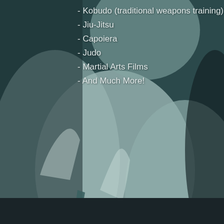[Figure (photo): Background photo of a martial artist in a white gi (uniform) with a dark belt, shown from the waist/torso area. The image has a teal/dark blue-green color overlay. The bottom of the page has a dark charcoal bar.]
- Kobudo (traditional weapons training)
- Jiu-Jitsu
- Capoiera
- Judo
- Martial Arts Films
- And Much More!